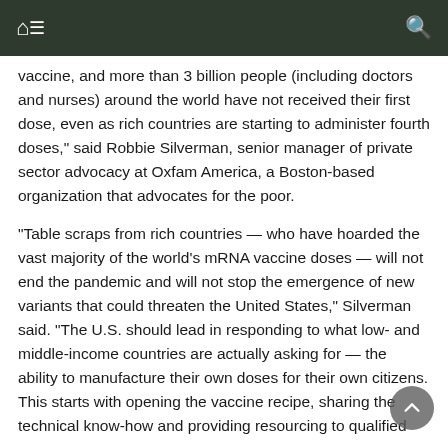Navigation bar with home, menu, and search icons
vaccine, and more than 3 billion people (including doctors and nurses) around the world have not received their first dose, even as rich countries are starting to administer fourth doses," said Robbie Silverman, senior manager of private sector advocacy at Oxfam America, a Boston-based organization that advocates for the poor.
"Table scraps from rich countries — who have hoarded the vast majority of the world's mRNA vaccine doses — will not end the pandemic and will not stop the emergence of new variants that could threaten the United States," Silverman said. "The U.S. should lead in responding to what low- and middle-income countries are actually asking for — the ability to manufacture their own doses for their own citizens. This starts with opening the vaccine recipe, sharing the technical know-how and providing resourcing to qualified